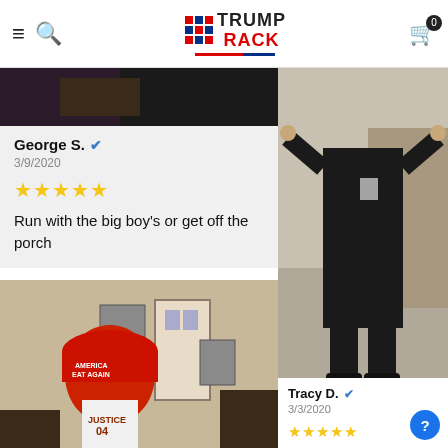TRUMP RACK — website header with navigation and cart
[Figure (photo): Dark/black photo background at top of left review card]
George S. ✓
3/9/2020
★★★★★
Run with the big boy's or get off the porch
[Figure (photo): Child wearing a large red Make America Great Again hat and a JUSTICE 04 shirt, indoors]
[Figure (photo): Person in all-black clothing giving thumbs up, standing in what appears to be a car dealership]
Tracy D. ✓
3/3/2020
★★★★★
Everyone loved my hat!!! Everyone wants to know where I found such a great hat, thanks again and Keep America Great with great ideas like